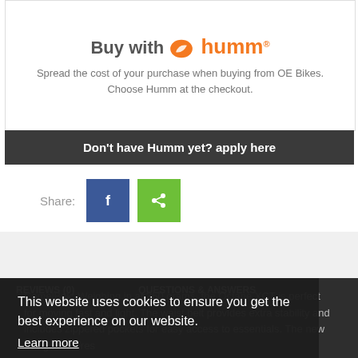[Figure (logo): Buy with humm logo banner with orange humm branding and leaf icon]
Spread the cost of your purchase when buying from OE Bikes. Choose Humm at the checkout.
Don't have Humm yet? apply here
Share:
[Figure (screenshot): Cookie consent overlay on dark background with text: This website uses cookies to ensure you get the best experience on our website. Learn more. Got it! button. REVIEWS (0) and QUESTIONS & ANSWERS tabs visible. CamelBak product description text: Weighing in at 350 grams, the Octane XCT is perfect for moving fast and light. The waist belt provides extra stability and includes zippered pockets for easy access to essentials. The new design features]